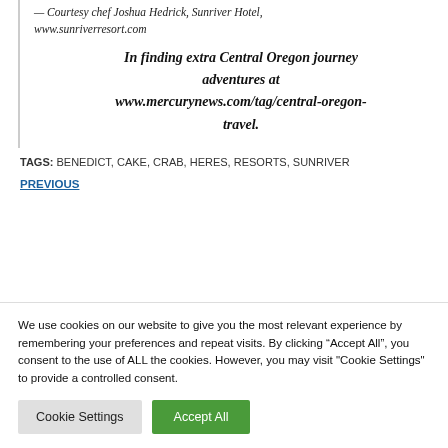— Courtesy chef Joshua Hedrick, Sunriver Hotel, www.sunriverresort.com
In finding extra Central Oregon journey adventures at www.mercurynews.com/tag/central-oregon-travel.
TAGS: BENEDICT, CAKE, CRAB, HERES, RESORTS, SUNRIVER
PREVIOUS
We use cookies on our website to give you the most relevant experience by remembering your preferences and repeat visits. By clicking “Accept All”, you consent to the use of ALL the cookies. However, you may visit "Cookie Settings" to provide a controlled consent.